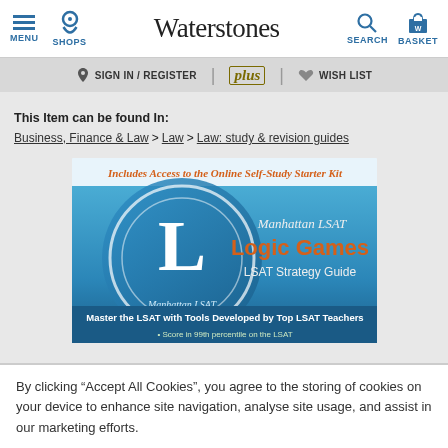MENU | SHOPS | Waterstones | SEARCH | BASKET
SIGN IN / REGISTER | plus | WISH LIST
This Item can be found In:
Business, Finance & Law > Law > Law: study & revision guides
[Figure (photo): Book cover: Manhattan LSAT Logic Games LSAT Strategy Guide. Includes Access to the Online Self-Study Starter Kit. Master the LSAT with Tools Developed by Top LSAT Teachers. Score in 99th percentile on the LSAT.]
By clicking “Accept All Cookies”, you agree to the storing of cookies on your device to enhance site navigation, analyse site usage, and assist in our marketing efforts.